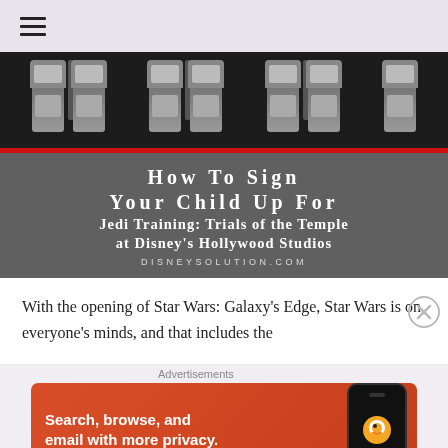Navigation menu (hamburger icon)
[Figure (photo): Star Wars themed seats (dark background with gray/silver seats at top), below a gray banner with red top border reading 'How To Sign Your Child Up For Jedi Training: Trials of the Temple at Disney's Hollywood Studios' and 'DISNEYSOLUTION.COM' at the bottom]
With the opening of Star Wars: Galaxy's Edge, Star Wars is on everyone's minds, and that includes the
Advertisements
[Figure (screenshot): Orange/red advertisement banner for DuckDuckGo: 'Search, browse, and email with more privacy.' with a phone mockup showing the DuckDuckGo logo]
Social sharing icons: Twitter, Facebook, Email, WordPress, Pinterest, SMS, Other